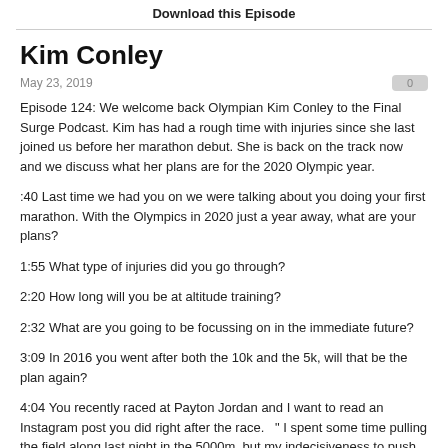Download this Episode
Kim Conley
May 23, 2019
Episode 124: We welcome back Olympian Kim Conley to the Final Surge Podcast. Kim has had a rough time with injuries since she last joined us before her marathon debut. She is back on the track now and we discuss what her plans are for the 2020 Olympic year.
:40 Last time we had you on we were talking about you doing your first marathon. With the Olympics in 2020 just a year away, what are your plans?
1:55 What type of injuries did you go through?
2:20 How long will you be at altitude training?
2:32 What are you going to be focussing on in the immediate future?
3:09 In 2016 you went after both the 10k and the 5k, will that be the plan again?
4:04 You recently raced at Payton Jordan and I want to read an Instagram post you did right after the race.   " I spent some time pulling the field along last night in the 5000m, but my indecisiveness to push the pace from the front also reminded me that I have additional elements to address as I endeavour...